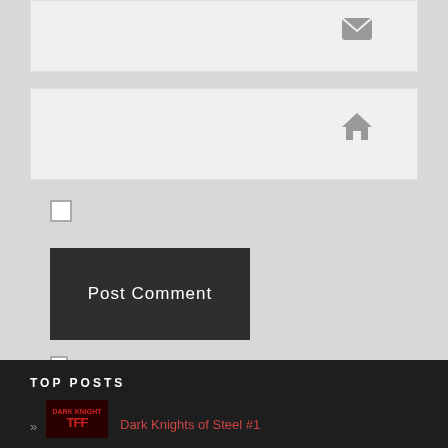[Figure (screenshot): Email input field with a mail envelope icon on the right side]
[Figure (screenshot): URL/website input field with a house/home icon on the right side]
[Figure (screenshot): Checkbox (unchecked) for saving info]
[Figure (screenshot): Dark 'Post Comment' button]
Notify me of new comments via email.
Notify me of new posts via email.
TOP POSTS
Dark Knights of Steel #1